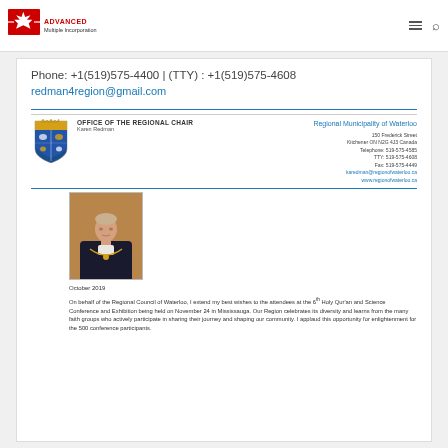Advanced Multiple Incorporation — navigation bar with logo, hamburger menu, and search icon
Phone: +1(519)575-4400 | (TTY) : +1(519)575-4608
redman4region@gmail.com
[Figure (letterhead): Regional Municipality of Waterloo official letterhead with coat of arms, Office of the Regional Chair (Karen Redman), address 150 Frederick Street Kitchener ON N2G 4J3 Canada, Telephone 519-575-4585, TTY 519-575-4608, Fax 519-575-4449, karedman@regionofwaterloo.ca, www.regionofwaterloo.ca]
[Figure (photo): Portrait photo of Karen Redman, Regional Chair, wearing dark jacket and ceremonial chain/medallion, against a warm wood-toned background]
October 2019
On behalf of the Regional Council of Waterloo, I extend my best wishes to the attendees at the 6th Holy Qur'an and Science Conference and Exhibition being held on November 24 in Mississauga. Our Region celebrates its diversity and learns from the many faith groups who actively participate in sharing their journey and shaping our community. I applaud this opportunity for enlightenment for the 500 conference participants.